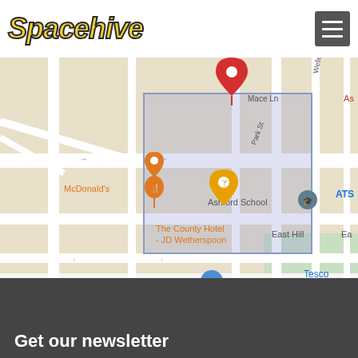Spacehive
[Figure (map): Google Maps screenshot showing Ashford town centre area with markers for McDonald's, The County Hotel - JD Wetherspoon, Ashford School, ATS, Tesco, and a red location pin near Park St / Welles St intersection. A blue highlighted rectangle surrounds the central area.]
+ More
Post a Comment
Get our newsletter